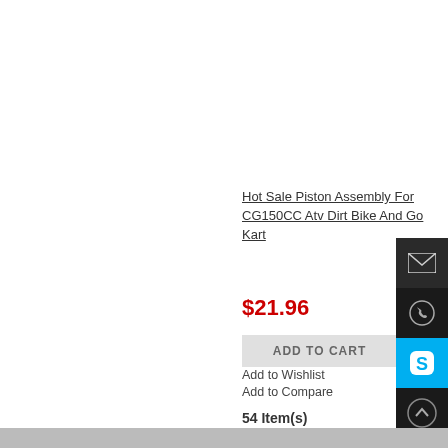Hot Sale Piston Assembly For CG150CC Atv Dirt Bike And Go Kart
$21.96
ADD TO CART
Add to Wishlist
Add to Compare
54 Item(s)
View as: Grid  List
New CB25...